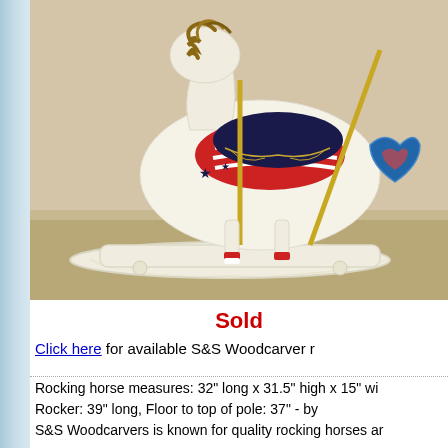[Figure (photo): A decorative wooden rocking horse with patriotic American theme paint — white body with red, white and blue saddle, black stars, and striped decorations. The horse sits on cream-colored wooden rockers on a carpeted floor.]
Sold
Click here for available S&S Woodcarver r...
Rocking horse measures: 32" long x 31.5" high x 15" wi... Rocker: 39" long, Floor to top of pole: 37" - by
S&S Woodcarvers is known for quality rocking horses ar...